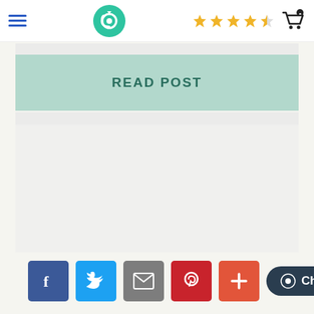[Figure (logo): Green circular camera lens logo in the top header, hamburger menu icon on the left, star rating (4.5 stars) and shopping cart icon on the right]
READ POST
[Figure (other): Light gray empty content area]
[Figure (infographic): Social share buttons row: Facebook, Twitter, Email, Pinterest, Plus. Chat button on the right.]